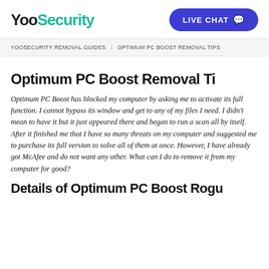Yoo Security | LIVE CHAT
YOOSECURITY REMOVAL GUIDES / OPTIMUM PC BOOST REMOVAL TIPS
Optimum PC Boost Removal Ti...
Optimum PC Boost has blocked my computer by asking me to activate its full function. I cannot bypass its window and get to any of my files I need. I didn't mean to have it but it just appeared there and began to run a scan all by itself. After it finished it told me that I have so many threats on my computer and suggested me to purchase its full version to solve all of them at once. However, I have already got McAfee and do not want any other. What can I do to remove it from my computer for good?
Details of Optimum PC Boost Rogu...